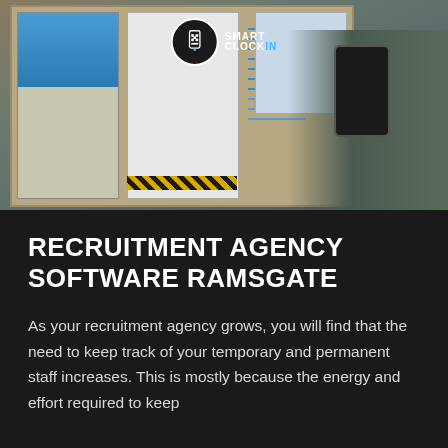[Figure (photo): A person holding a smartphone up to a bulletin board covered in posters and notices. A Smart Clock In logo (circular icon with QR code and phone graphic, plus the text SMART CLOCK IN) is overlaid on the upper center of the photo.]
RECRUITMENT AGENCY SOFTWARE RAMSGATE
As your recruitment agency grows, you will find that the need to keep track of your temporary and permanent staff increases. This is mostly because the energy and effort required to keep